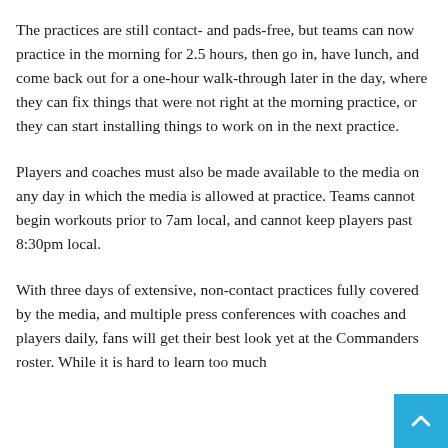The practices are still contact- and pads-free, but teams can now practice in the morning for 2.5 hours, then go in, have lunch, and come back out for a one-hour walk-through later in the day, where they can fix things that were not right at the morning practice, or they can start installing things to work on in the next practice.
Players and coaches must also be made available to the media on any day in which the media is allowed at practice. Teams cannot begin workouts prior to 7am local, and cannot keep players past 8:30pm local.
With three days of extensive, non-contact practices fully covered by the media, and multiple press conferences with coaches and players daily, fans will get their best look yet at the Commanders roster. While it is hard to learn too much